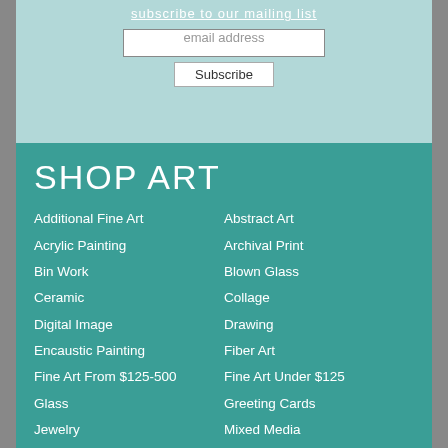subscribe to our mailing list
email address
Subscribe
SHOP ART
Additional Fine Art
Acrylic Painting
Bin Work
Ceramic
Digital Image
Encaustic Painting
Fine Art From $125-500
Glass
Jewelry
Monoprint
New Art
Painting
Photography
Abstract Art
Archival Print
Blown Glass
Collage
Drawing
Fiber Art
Fine Art Under $125
Greeting Cards
Mixed Media
New
Oil Painting
Pastels
Printmaking